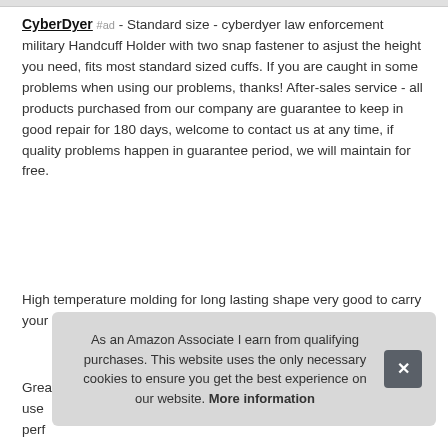CyberDyer #ad - Standard size - cyberdyer law enforcement military Handcuff Holder with two snap fastener to asjust the height you need, fits most standard sized cuffs. If you are caught in some problems when using our problems, thanks! After-sales service - all products purchased from our company are guarantee to keep in good repair for 180 days, welcome to contact us at any time, if quality problems happen in guarantee period, we will maintain for free.
High temperature molding for long lasting shape very good to carry your handcuffs.
Grea... use... perf...
As an Amazon Associate I earn from qualifying purchases. This website uses the only necessary cookies to ensure you get the best experience on our website. More information